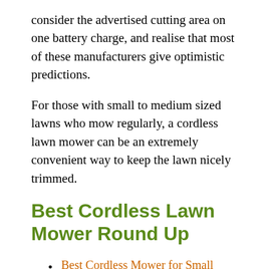consider the advertised cutting area on one battery charge, and realise that most of these manufacturers give optimistic predictions.
For those with small to medium sized lawns who mow regularly, a cordless lawn mower can be an extremely convenient way to keep the lawn nicely trimmed.
Best Cordless Lawn Mower Round Up
Best Cordless Mower for Small Lawns – Flymo Mighti Mo
Best Cordless Mower for Large Lawns – Bosch Rotak 43